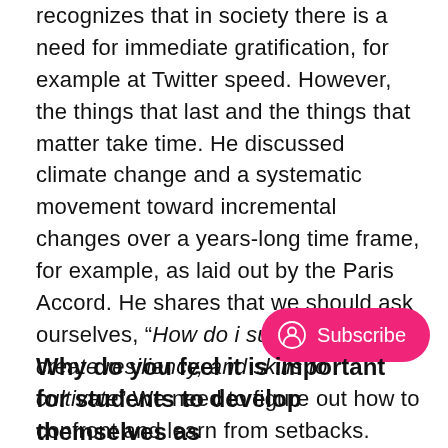recognizes that in society there is a need for immediate gratification, for example at Twitter speed. However, the things that last and the things that matter take time. He discussed climate change and a systematic movement toward incremental changes over a years-long time frame, for example, as laid out by the Paris Accord. He shares that we should ask ourselves, “How do i sustain effort, create resiliency, and skills to cultivate” We need to figure out how to confront and learn from setbacks.
Why do you feel it is important for students to develop themselves as